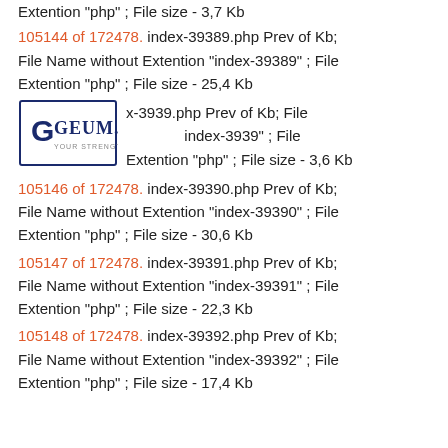Extention "php" ; File size - 3,7 Kb
105144 of 172478. index-39389.php Prev of Kb; File Name without Extention "index-39389" ; File Extention "php" ; File size - 25,4 Kb
[Figure (logo): GEUM.RU logo with tagline YOUR STRENGTHS]
x-3939.php Prev of Kb; File index-3939" ; File Extention "php" ; File size - 3,6 Kb
105146 of 172478. index-39390.php Prev of Kb; File Name without Extention "index-39390" ; File Extention "php" ; File size - 30,6 Kb
105147 of 172478. index-39391.php Prev of Kb; File Name without Extention "index-39391" ; File Extention "php" ; File size - 22,3 Kb
105148 of 172478. index-39392.php Prev of Kb; File Name without Extention "index-39392" ; File Extention "php" ; File size - 17,4 Kb